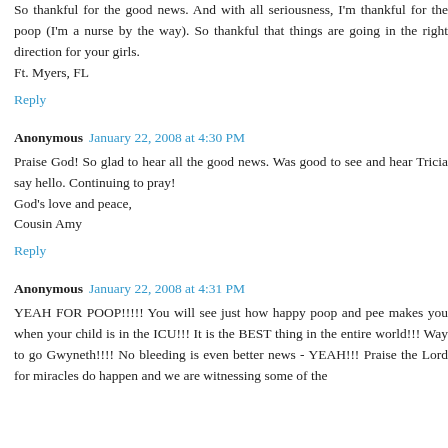So thankful for the good news. And with all seriousness, I'm thankful for the poop (I'm a nurse by the way). So thankful that things are going in the right direction for your girls. Ft. Myers, FL
Reply
Anonymous  January 22, 2008 at 4:30 PM
Praise God! So glad to hear all the good news. Was good to see and hear Tricia say hello. Continuing to pray! God's love and peace, Cousin Amy
Reply
Anonymous  January 22, 2008 at 4:31 PM
YEAH FOR POOP!!!!! You will see just how happy poop and pee makes you when your child is in the ICU!!! It is the BEST thing in the entire world!!! Way to go Gwyneth!!!! No bleeding is even better news - YEAH!!! Praise the Lord for miracles do happen and we are witnessing some of the